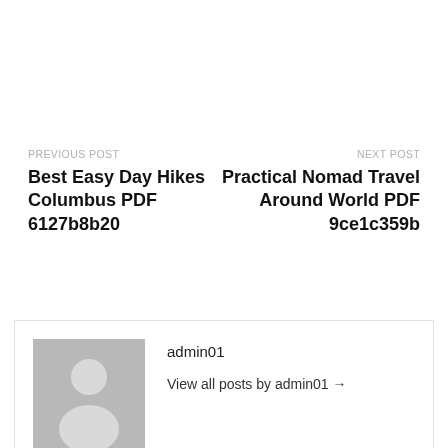PREVIOUS POST
Best Easy Day Hikes Columbus PDF 6127b8b20
NEXT POST
Practical Nomad Travel Around World PDF 9ce1c359b
[Figure (photo): Avatar placeholder image showing a silhouette of a person on a grey background]
admin01
View all posts by admin01 →